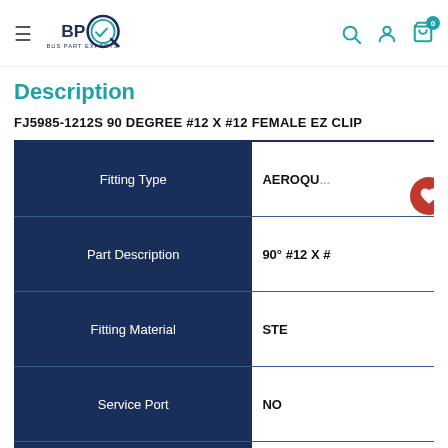Bus Part Experts — navigation bar with logo, search, account, cart (0)
Description
FJ5985-1212S 90 DEGREE #12 X #12 FEMALE EZ CLIP
|  |  |
| --- | --- |
| Fitting Type | AEROQUIP (truncated) |
| Part Description | 90° #12 X # (truncated) |
| Fitting Material | STE (truncated) |
| Service Port | NO |
| Fitting Gender | FEM (truncated) |